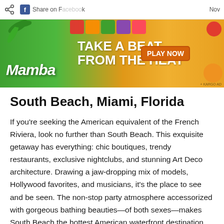[Figure (screenshot): Mamba candy advertisement banner with green and yellow/orange background. Text reads 'TAKE A BEAT FROM THE HEAT' with 'PLAY NOW' button and Mamba logo. Top bar shows share icon and Facebook share text.]
South Beach, Miami, Florida
If you're seeking the American equivalent of the French Riviera, look no further than South Beach. This exquisite getaway has everything: chic boutiques, trendy restaurants, exclusive nightclubs, and stunning Art Deco architecture. Drawing a jaw-dropping mix of models, Hollywood favorites, and musicians, it's the place to see and be seen. The non-stop party atmosphere accessorized with gorgeous bathing beauties—of both sexes—makes South Beach the hottest American waterfront destination year round. Celebs such as